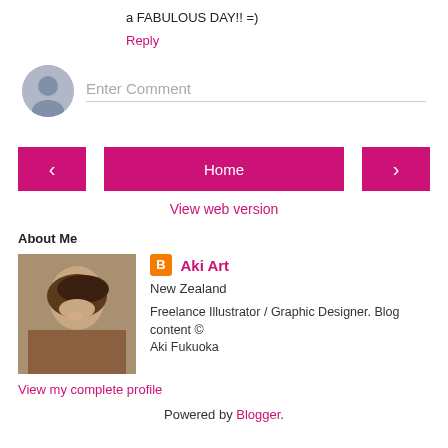a FABULOUS DAY!! =)
Reply
Enter Comment
Home
View web version
About Me
Aki Art
New Zealand
Freelance Illustrator / Graphic Designer. Blog content © Aki Fukuoka
View my complete profile
Powered by Blogger.